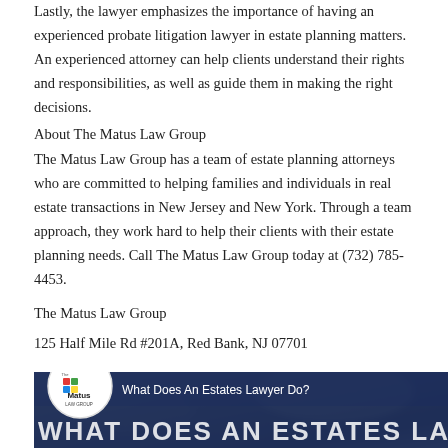Lastly, the lawyer emphasizes the importance of having an experienced probate litigation lawyer in estate planning matters. An experienced attorney can help clients understand their rights and responsibilities, as well as guide them in making the right decisions.
About The Matus Law Group
The Matus Law Group has a team of estate planning attorneys who are committed to helping families and individuals in real estate transactions in New Jersey and New York. Through a team approach, they work hard to help their clients with their estate planning needs. Call The Matus Law Group today at (732) 785-4453.
The Matus Law Group
125 Half Mile Rd #201A, Red Bank, NJ 07701
[Figure (screenshot): Video thumbnail showing 'What Does An Estates Lawyer Do?' with The Matus Law Group logo in a white circle on the left, a navy bar with the title text, and a large bold watermark text 'WHAT DOES AN ESTATES LAW' across the bottom. Background shows a blurred outdoor green scene.]